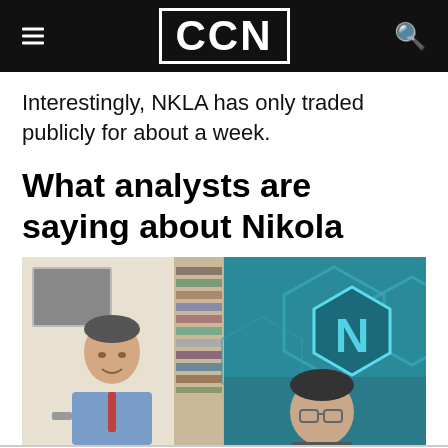CCN
Interestingly, NKLA has only traded publicly for about a week.
What analysts are saying about Nikola
[Figure (photo): Split-screen video still: left side shows a man in a blue shirt seated in a home office setting; right side shows a man with glasses in front of a teal Nikola branded background with hexagonal logo.]
By using CCN.com you consent to our  privacy & cookie policy.
Continue